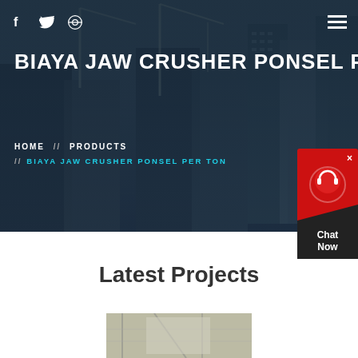[Figure (photo): Hero background: construction site with cranes and tall buildings under a dark blue overlay]
f  [twitter icon]  [dribbble icon]  [hamburger menu]
BIAYA JAW CRUSHER PONSEL P
HOME  //  PRODUCTS  //  BIAYA JAW CRUSHER PONSEL PER TON
[Figure (other): Red chat widget with headset icon, close button (X), dark bottom section with 'Chat Now' text]
Latest Projects
[Figure (photo): Industrial facility interior photo partially visible at bottom of page]